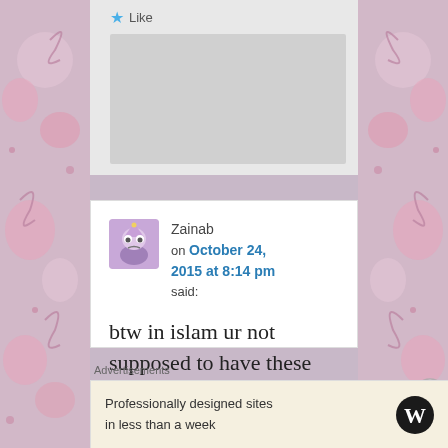[Figure (screenshot): Like button with blue star icon at top]
Zainab
on October 24, 2015 at 8:14 pm
said:
btw in islam ur not supposed to have these sectors,
Advertisements
Professionally designed sites in less than a week